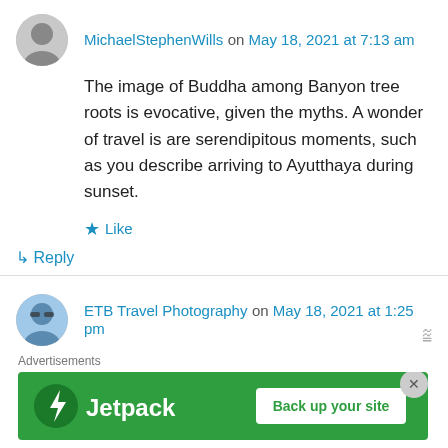MichaelStephenWills on May 18, 2021 at 7:13 am
The image of Buddha among Banyon tree roots is evocative, given the myths. A wonder of travel is are serendipitous moments, such as you describe arriving to Ayutthaya during sunset.
★ Like
↳ Reply
ETB Travel Photography on May 18, 2021 at 1:25 pm
I love the pics of wat mahathat! Thanks for sharing!
Advertisements
[Figure (screenshot): Jetpack advertisement banner: green background with Jetpack logo and 'Back up your site' button]